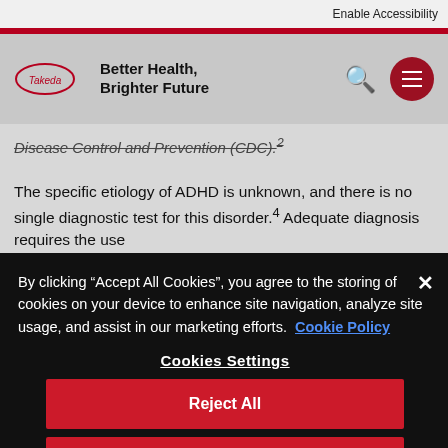Enable Accessibility
Better Health, Brighter Future
Disease Control and Prevention (CDC).²
The specific etiology of ADHD is unknown, and there is no single diagnostic test for this disorder.⁴ Adequate diagnosis requires the use
By clicking "Accept All Cookies", you agree to the storing of cookies on your device to enhance site navigation, analyze site usage, and assist in our marketing efforts. Cookie Policy
Cookies Settings
Reject All
Accept All Cookies